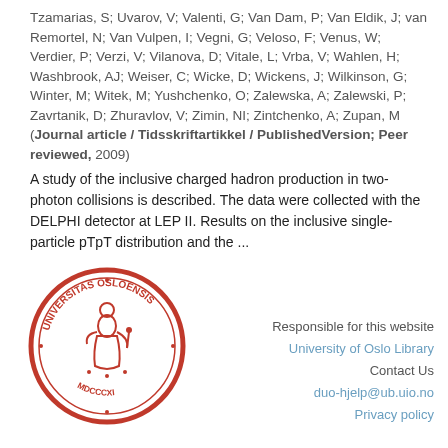Tzamarias, S; Uvarov, V; Valenti, G; Van Dam, P; Van Eldik, J; van Remortel, N; Van Vulpen, I; Vegni, G; Veloso, F; Venus, W; Verdier, P; Verzi, V; Vilanova, D; Vitale, L; Vrba, V; Wahlen, H; Washbrook, AJ; Weiser, C; Wicke, D; Wickens, J; Wilkinson, G; Winter, M; Witek, M; Yushchenko, O; Zalewska, A; Zalewski, P; Zavrtanik, D; Zhuravlov, V; Zimin, NI; Zintchenko, A; Zupan, M (Journal article / Tidsskriftartikkel / PublishedVersion; Peer reviewed, 2009)
A study of the inclusive charged hadron production in two-photon collisions is described. The data were collected with the DELPHI detector at LEP II. Results on the inclusive single-particle pTpT distribution and the ...
[Figure (logo): University of Oslo circular seal/logo in red with Latin text and a figure in the center]
Responsible for this website
University of Oslo Library
Contact Us
duo-hjelp@ub.uio.no
Privacy policy